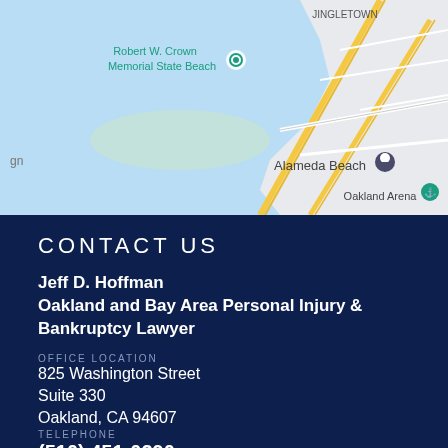[Figure (map): Google Maps screenshot showing Alameda area with Robert W. Crown Memorial State Beach, Alameda Beach location pin, Oakland Arena, and Jingletown neighborhood visible. Map shows water in light blue and roads in white/yellow.]
CONTACT US
Jeff D. Hoffman
Oakland and Bay Area Personal Injury & Bankruptcy Lawyer
OFFICE LOCATION
825 Washington Street
Suite 330
Oakland, CA 94607
TELEPHONE
(510) 451-0290